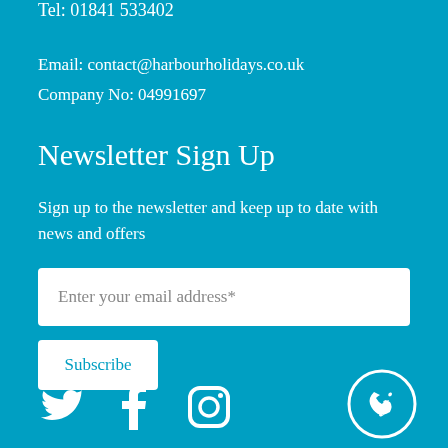Tel: 01841 533402
Email: contact@harbourholidays.co.uk
Company No: 04991697
Newsletter Sign Up
Sign up to the newsletter and keep up to date with news and offers
Enter your email address*
Subscribe
[Figure (illustration): Social media icons: Twitter, Facebook, Instagram]
[Figure (logo): Phone/clock icon in a white circle outline]